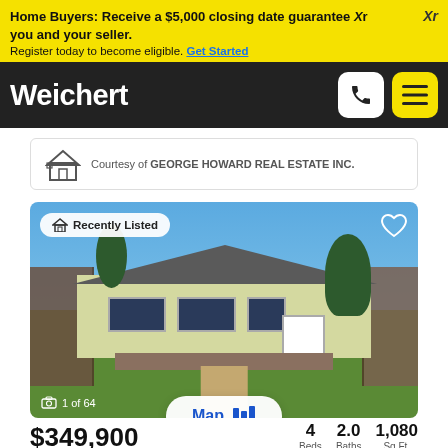Home Buyers: Receive a $5,000 closing date guarantee Xr you and your seller. Register today to become eligible. Get Started
[Figure (logo): Weichert logo in white text on black navigation bar with phone and menu buttons]
Courtesy of GEORGE HOWARD REAL ESTATE INC.
[Figure (photo): Exterior photo of a small single-story white/yellow sided ranch house with gray roof, wooden fence on left, patio/deck in front, grass lawn, blue sky. Badge reads 'Recently Listed'. Photo counter shows '1 of 64'.]
$349,900
4 Beds  2.0 Baths  1,080 Sq.Ft.